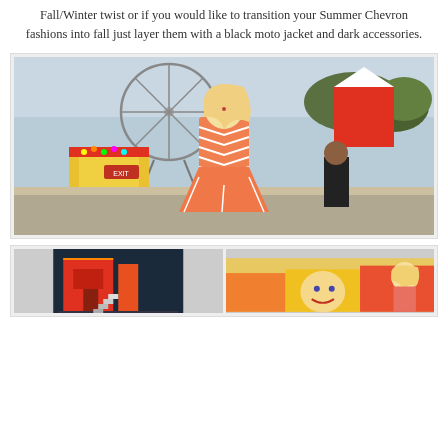Fall/Winter twist or if you would like to transition your Summer Chevron fashions into fall just layer them with a black moto jacket and dark accessories.
[Figure (photo): A blonde woman wearing an orange and white chevron crop top and matching skirt, posing at a fairground with a Ferris wheel and carnival rides in the background.]
[Figure (photo): Two smaller photos side by side: left shows a red carnival booth structure; right shows the same blonde woman near colorful carnival game booths.]